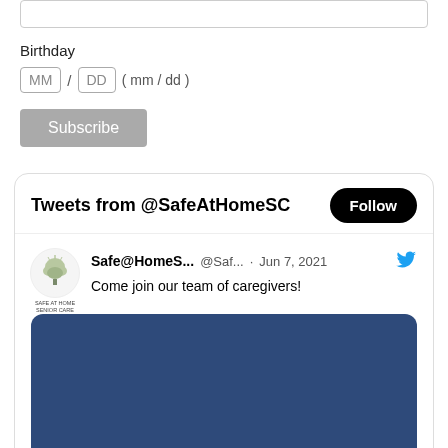Birthday
MM / DD ( mm / dd )
Subscribe
Tweets from @SafeAtHomeSC
Follow
Safe@HomeS... @Saf... · Jun 7, 2021
Come join our team of caregivers!
[Figure (other): Dark blue rectangular image area within a tweet card]